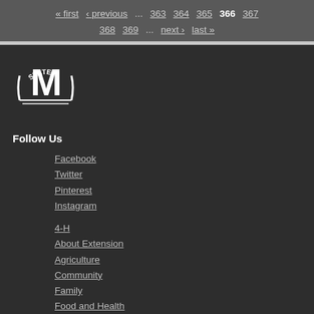« first  ‹ previous  ...  363  364  365  366  367  368  369  ...  next ›  last »
[Figure (logo): Mississippi State University M-STATE logo in white on dark background]
Follow Us
Facebook
Twitter
Pinterest
Instagram
4-H
About Extension
Agriculture
Community
Family
Food and Health
Insects
Lawn and Garden
Natural Resources